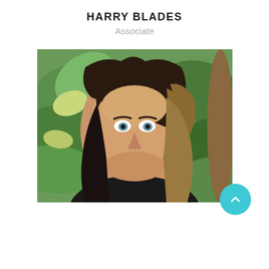HARRY BLADES
Associate
[Figure (photo): Professional headshot of a young woman with long brown and blonde hair, blue eyes, wearing a dark top, photographed in front of lush green tropical foliage]
[Figure (other): Teal/cyan circular back-to-top button with upward chevron arrow icon, positioned in lower-right area]